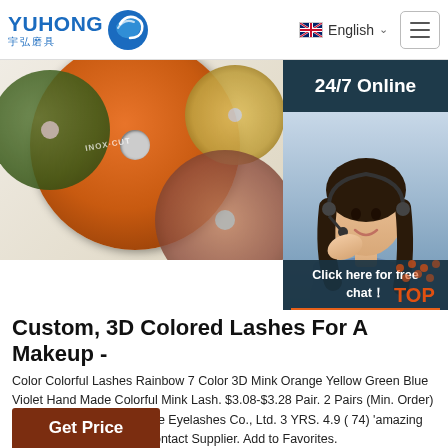YUHONG 宇弘磨具 — English
[Figure (screenshot): Website screenshot showing cutting discs/grinding wheels product banner image, with a 24/7 Online support overlay and customer service representative photo on the right side, along with a 'Click here for free chat!' and 'QUOTATION' button overlay, and a 'TOP' badge.]
Custom, 3D Colored Lashes For A Makeup -
Color Colorful Lashes Rainbow 7 Color 3D Mink Orange Yellow Green Blue Violet Hand Made Colorful Mink Lash. $3.08-$3.28 Pair. 2 Pairs (Min. Order) CN Qingdao Bameier False Eyelashes Co., Ltd. 3 YRS. 4.9 ( 74) 'amazing service' 'quick delivery'. Contact Supplier. Add to Favorites.
Get Price